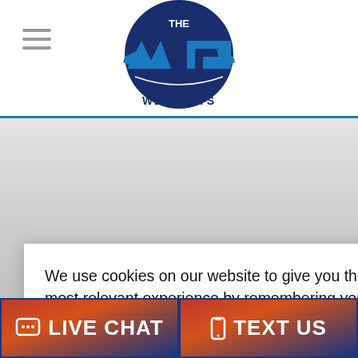[Figure (logo): The Web Guys logo - dark navy circle with WG letters in blue and white, wings extending, 'THE WEB GUYS' text below]
Our Culture
We use cookies on our website to give you the most relevant experience by remembering your preferences and repeat visits. By clicking "Accept All", you consent to the use of ALL the cookies. However, you may visit "Cookie Settings" to provide a controlled consent.
Cookie Settings | Accept All
Our Values
LIVE CHAT | TEXT US